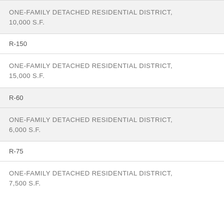ONE-FAMILY DETACHED RESIDENTIAL DISTRICT, 10,000 S.F.
R-150
ONE-FAMILY DETACHED RESIDENTIAL DISTRICT, 15,000 S.F.
R-60
ONE-FAMILY DETACHED RESIDENTIAL DISTRICT, 6,000 S.F.
R-75
ONE-FAMILY DETACHED RESIDENTIAL DISTRICT, 7,500 S.F.